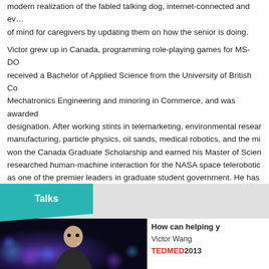modern realization of the fabled talking dog, internet-connected and ev... of mind for caregivers by updating them on how the senior is doing.
Victor grew up in Canada, programming role-playing games for MS-DO... received a Bachelor of Applied Science from the University of British Co... Mechatronics Engineering and minoring in Commerce, and was awarded... designation. After working stints in telemarketing, environmental resear... manufacturing, particle physics, oil sands, medical robotics, and the mi... won the Canada Graduate Scholarship and earned his Master of Scien... researched human-machine interaction for the NASA space telerobotics... as one of the premier leaders in graduate student government. He has... organizations such as AARP and the Center for Connected Health as a... leader in the field of senior care technology.
Talks
[Figure (photo): Photo of Victor Wang on stage speaking at TEDMED 2013, dark background with bokeh lights]
How can helping y...
Victor Wang
TEDMED2013